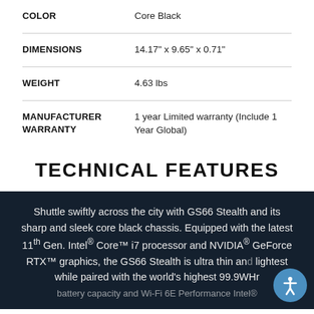| Attribute | Value |
| --- | --- |
| COLOR | Core Black |
| DIMENSIONS | 14.17" x 9.65" x 0.71" |
| WEIGHT | 4.63 lbs |
| MANUFACTURER WARRANTY | 1 year Limited warranty (Include 1 Year Global) |
TECHNICAL FEATURES
Shuttle swiftly across the city with GS66 Stealth and its sharp and sleek core black chassis. Equipped with the latest 11th Gen. Intel® Core™ i7 processor and NVIDIA® GeForce RTX™ graphics, the GS66 Stealth is ultra thin and lightest while paired with the world's highest 99.9WHr battery capacity and Wi-Fi 6E Performance Intel®...